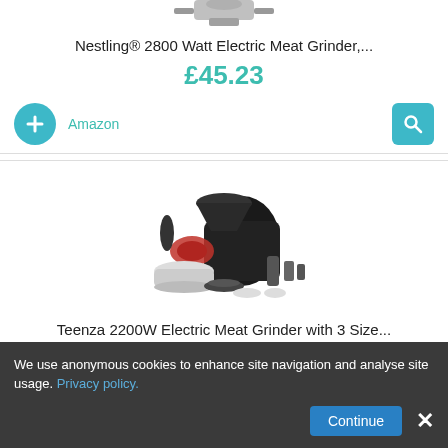[Figure (photo): Partial image of Nestling 2800W electric meat grinder (top portion only visible)]
Nestling® 2800 Watt Electric Meat Grinder,...
£45.23
Amazon
[Figure (photo): Teenza 2200W electric meat grinder with multiple attachments, black color with ground meat shown]
Teenza 2200W Electric Meat Grinder with 3 Size...
£45.96
Amazon
We use anonymous cookies to enhance site navigation and analyse site usage. Privacy policy.